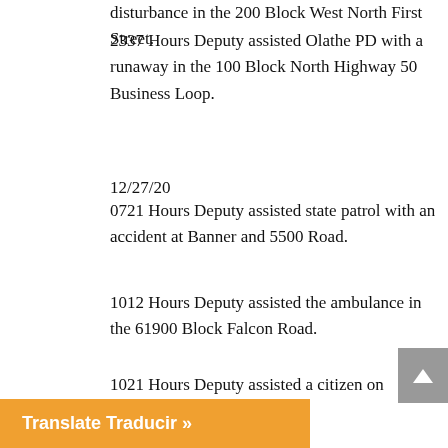disturbance in the 200 Block West North First Street.
2337 Hours Deputy assisted Olathe PD with a runaway in the 100 Block North Highway 50 Business Loop.
12/27/20
0721 Hours Deputy assisted state patrol with an accident at Banner and 5500 Road.
1012 Hours Deputy assisted the ambulance in the 61900 Block Falcon Road.
1021 Hours Deputy assisted a citizen on Paradox Trail.
1204 Hours Deputy assisted a citizen in the 700 Block 6530 Road.
1223 Hours Deputy was dispatched to a fraud in the